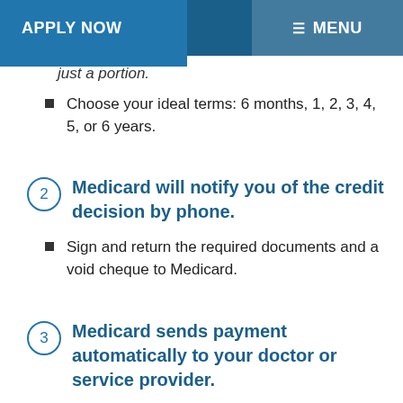APPLY NOW   MENU
just a portion.
Choose your ideal terms: 6 months, 1, 2, 3, 4, 5, or 6 years.
② Medicard will notify you of the credit decision by phone.
Sign and return the required documents and a void cheque to Medicard.
③ Medicard sends payment automatically to your doctor or service provider.
Your monthly payment is electronically